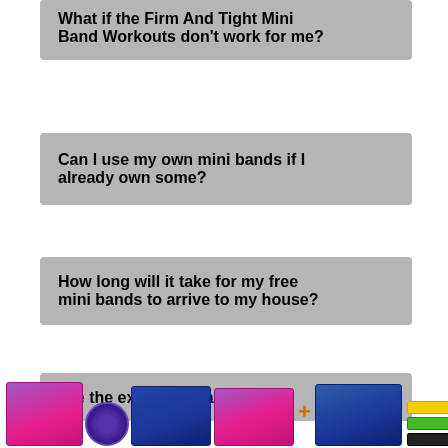What if the Firm And Tight Mini Band Workouts don't work for me?
Can I use my own mini bands if I already own some?
How long will it take for my free mini bands to arrive to my house?
Are the exercises hard to do?
[Figure (photo): Product bundle showing Firm & Tight Mini Band Workouts program boxes, tablet, disc, plus Posture Strengthening Workout Bonus and mini resistance bands]